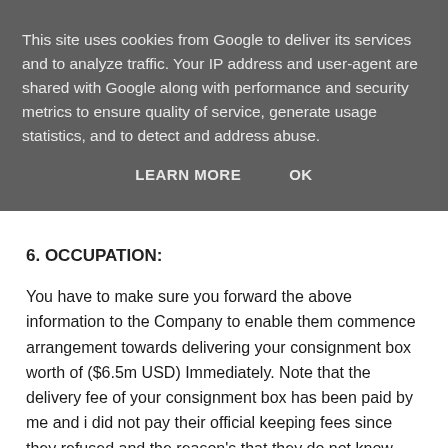This site uses cookies from Google to deliver its services and to analyze traffic. Your IP address and user-agent are shared with Google along with performance and security metrics to ensure quality of service, generate usage statistics, and to detect and address abuse.
LEARN MORE   OK
6. OCCUPATION:
You have to make sure you forward the above information to the Company to enable them commence arrangement towards delivering your consignment box worth of ($6.5m USD) Immediately. Note that the delivery fee of your consignment box has been paid by me and i did not pay their official keeping fees since they refused and the reason's that they do not know when you are going to contact them and demurrage might have increase. They told me that their keeping fees is $95 and I deposited it on 31/01/2013, I advise you to contact them today to avoid increase of demurrage, This is the company contact info:
GLOBAL FREIGHT COURIER (GFC)